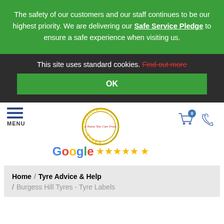The safety of our customers and our staff continues to be our highest priority. We are delivering our Safe Service Pledge to ensure a safe experience when visiting us.
This site uses standard cookies. Find out more
OK
[Figure (logo): Allright Tyres logo - circular badge with yellow text and Google 5-star rating below]
MENU
Home / Tyre Advice & Help / Burgess Hill Tyres - Tyre Labels